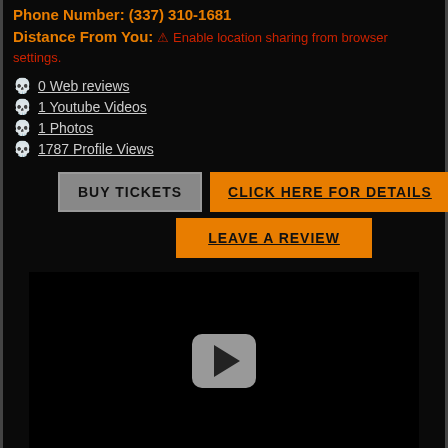Phone Number: (337) 310-1681
Distance From You: ⚠ Enable location sharing from browser settings.
💀 0 Web reviews
💀 1 Youtube Videos
💀 1 Photos
💀 1787 Profile Views
BUY TICKETS   CLICK HERE FOR DETAILS
LEAVE A REVIEW
[Figure (screenshot): Black video embed area with a play button in the center]
[Figure (photo): Gray photo strip at the bottom]